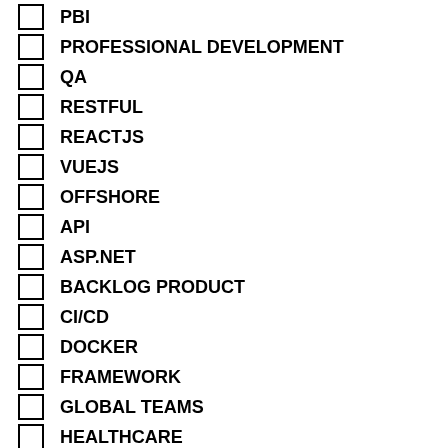PBI
PROFESSIONAL DEVELOPMENT
QA
RESTFUL
REACTJS
VUEJS
OFFSHORE
API
ASP.NET
BACKLOG PRODUCT
CI/CD
DOCKER
FRAMEWORK
GLOBAL TEAMS
HEALTHCARE
JAVASCRIPT